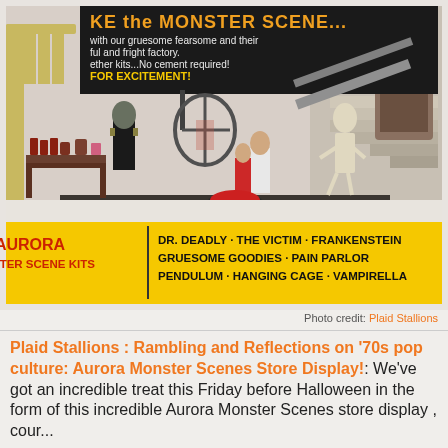[Figure (photo): Aurora Monster Scene Kits store display showing model figures including Frankenstein, Dr. Deadly, a victim in a cage, and a skeleton on a ramp, with a yellow box labeled 'Aurora Monster Scene Kits' listing: DR. DEADLY · THE VICTIM · FRANKENSTEIN GRUESOME GOODIES · PAIN PARLOR PENDULUM · HANGING CAGE · VAMPIRELLA]
Photo credit: Plaid Stallions
Plaid Stallions : Rambling and Reflections on '70s pop culture: Aurora Monster Scenes Store Display!: We've got an incredible treat this Friday before Halloween in the form of this incredible Aurora Monster Scenes store display , cour...